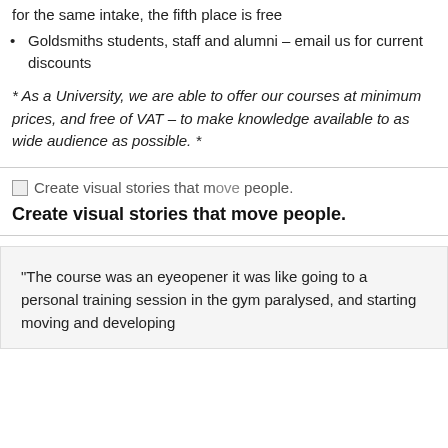for the same intake, the fifth place is free
Goldsmiths students, staff and alumni – email us for current discounts
* As a University, we are able to offer our courses at minimum prices, and free of VAT – to make knowledge available to as wide audience as possible. *
[Figure (screenshot): Screenshot/image with text overlay: 'Create visual stories that move people.' followed by bold tagline 'Create visual stories that move people.']
"The course was an eyeopener it was like going to a personal training session in the gym paralysed, and starting moving and developing